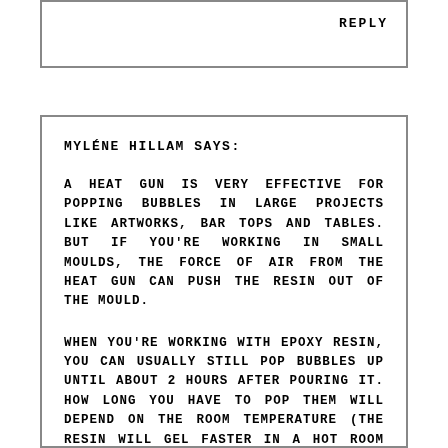REPLY
MYLÉNE HILLAM SAYS:
A HEAT GUN IS VERY EFFECTIVE FOR POPPING BUBBLES IN LARGE PROJECTS LIKE ARTWORKS, BAR TOPS AND TABLES. BUT IF YOU'RE WORKING IN SMALL MOULDS, THE FORCE OF AIR FROM THE HEAT GUN CAN PUSH THE RESIN OUT OF THE MOULD.
WHEN YOU'RE WORKING WITH EPOXY RESIN, YOU CAN USUALLY STILL POP BUBBLES UP UNTIL ABOUT 2 HOURS AFTER POURING IT. HOW LONG YOU HAVE TO POP THEM WILL DEPEND ON THE ROOM TEMPERATURE (THE RESIN WILL GEL FASTER IN A HOT ROOM THAN IN A